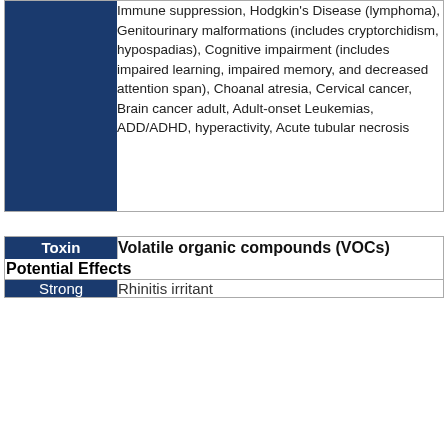|  | Effects |
| --- | --- |
|  | Immune suppression, Hodgkin's Disease (lymphoma), Genitourinary malformations (includes cryptorchidism, hypospadias), Cognitive impairment (includes impaired learning, impaired memory, and decreased attention span), Choanal atresia, Cervical cancer, Brain cancer adult, Adult-onset Leukemias, ADD/ADHD, hyperactivity, Acute tubular necrosis |
| Toxin | Volatile organic compounds (VOCs) |
| --- | --- |
|  | Potential Effects |
| Strong | Rhinitis irritant |